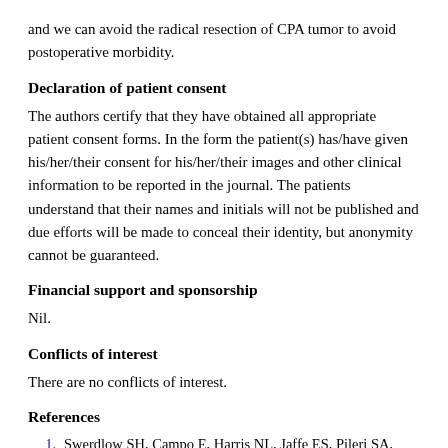and we can avoid the radical resection of CPA tumor to avoid postoperative morbidity.
Declaration of patient consent
The authors certify that they have obtained all appropriate patient consent forms. In the form the patient(s) has/have given his/her/their consent for his/her/their images and other clinical information to be reported in the journal. The patients understand that their names and initials will not be published and due efforts will be made to conceal their identity, but anonymity cannot be guaranteed.
Financial support and sponsorship
Nil.
Conflicts of interest
There are no conflicts of interest.
References
1. Swerdlow SH, Campo E, Harris NL, Jaffe ES, Pileri SA, Stein H, et al. WHO